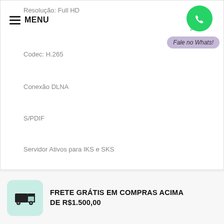Resolução: Full HD
≡ MENU
[Figure (logo): WhatsApp green phone icon]
Fale no Whats!
Codec: H.265
Conexão DLNA
S/PDIF
Servidor Ativos para IKS e SKS
[Figure (illustration): Scroll to top arrow button]
[Figure (illustration): Truck delivery icon in mint green rounded square]
FRETE GRÁTIS EM COMPRAS ACIMA DE R$1.500,00